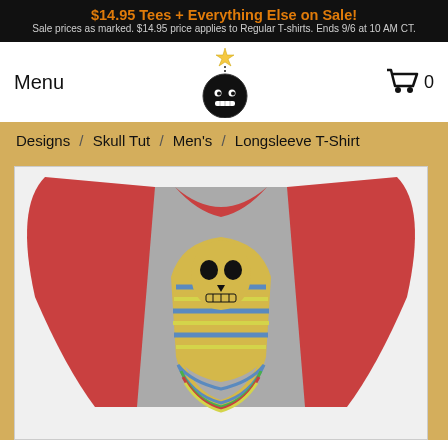$14.95 Tees + Everything Else on Sale! Sale prices as marked. $14.95 price applies to Regular T-shirts. Ends 9/6 at 10 AM CT.
Menu
[Figure (logo): Threadless bomb character logo - black cartoon bomb with star fuse and smiley face]
0
Designs / Skull Tut / Men's / Longsleeve T-Shirt
[Figure (photo): Red-sleeved baseball style longsleeve t-shirt with gray body featuring Skull Tut design - Egyptian pharaoh mask with skull face in gold and colorful stripes]